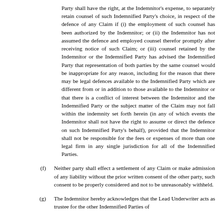Party shall have the right, at the Indemnitor's expense, to separately retain counsel of such Indemnified Party's choice, in respect of the defence of any Claim if (i) the employment of such counsel has been authorized by the Indemnitor; or (ii) the Indemnitor has not assumed the defence and employed counsel therefor promptly after receiving notice of such Claim; or (iii) counsel retained by the Indemnitor or the Indemnified Party has advised the Indemnified Party that representation of both parties by the same counsel would be inappropriate for any reason, including for the reason that there may be legal defences available to the Indemnified Party which are different from or in addition to those available to the Indemnitor or that there is a conflict of interest between the Indemnitor and the Indemnified Party or the subject matter of the Claim may not fall within the indemnity set forth herein (in any of which events the Indemnitor shall not have the right to assume or direct the defence on such Indemnified Party's behalf), provided that the Indemnitor shall not be responsible for the fees or expenses of more than one legal firm in any single jurisdiction for all of the Indemnified Parties.
(f) Neither party shall effect a settlement of any Claim or make admission of any liability without the prior written consent of the other party, such consent to be properly considered and not to be unreasonably withheld.
(g) The Indemnitor hereby acknowledges that the Lead Underwriter acts as trustee for the other Indemnified Parties of